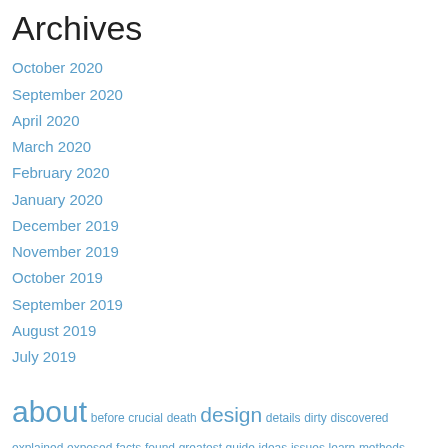Archives
October 2020
September 2020
April 2020
March 2020
February 2020
January 2020
December 2019
November 2019
October 2019
September 2019
August 2019
July 2019
about before crucial death design details dirty discovered explained exposed facts found greatest guide ideas issues learn methods mystery never nobody people questions referring report revealed secret secrets